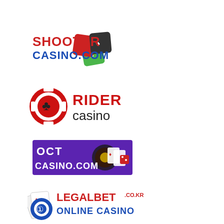[Figure (logo): ShooterCasino.com logo with red and blue text and colorful dice icon]
[Figure (logo): Rider Casino logo with poker chip icon, red RIDER text and black casino text]
[Figure (logo): OCT Casino.com banner with purple background, roulette wheel and playing cards]
[Figure (logo): LegalBet.co.kr Online Casino logo with playing cards and poker chip icon]